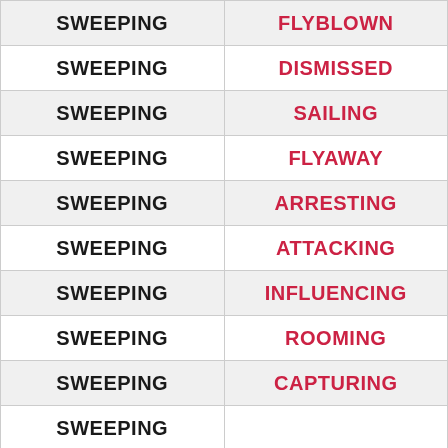|  |  |
| --- | --- |
| SWEEPING | FLYBLOWN |
| SWEEPING | DISMISSED |
| SWEEPING | SAILING |
| SWEEPING | FLYAWAY |
| SWEEPING | ARRESTING |
| SWEEPING | ATTACKING |
| SWEEPING | INFLUENCING |
| SWEEPING | ROOMING |
| SWEEPING | CAPTURING |
| SWEEPING |  |